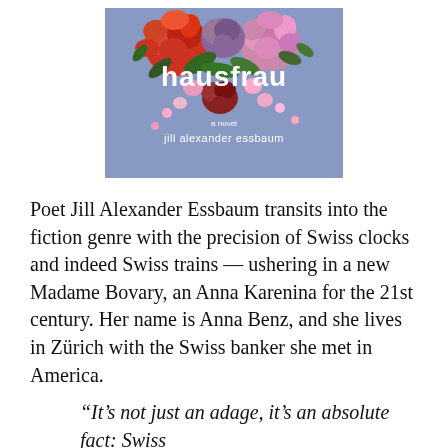[Figure (illustration): Book cover of 'hausfrau' by Jill Alexander Essbaum. Blue/lavender background with colorful roses (red, orange, pink, purple) arranged at top. White bold lowercase text reads 'hausfrau' in center. Small text 'a novel' and 'jill alexander essbaum' in white near bottom.]
Poet Jill Alexander Essbaum transits into the fiction genre with the precision of Swiss clocks and indeed Swiss trains — ushering in a new Madame Bovary, an Anna Karenina for the 21st century. Her name is Anna Benz, and she lives in Zürich with the Swiss banker she met in America.
“It’s not just an adage, it’s an absolute fact: Swiss